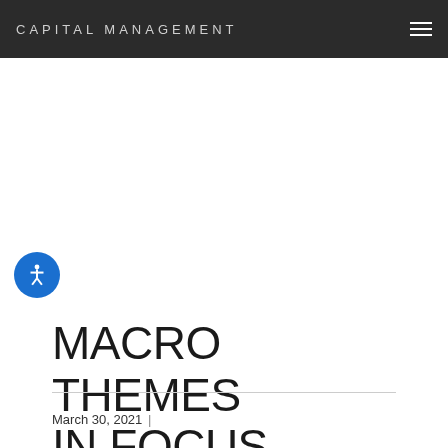CAPITAL MANAGEMENT
MACRO THEMES IN FOCUS
March 30, 2021 |